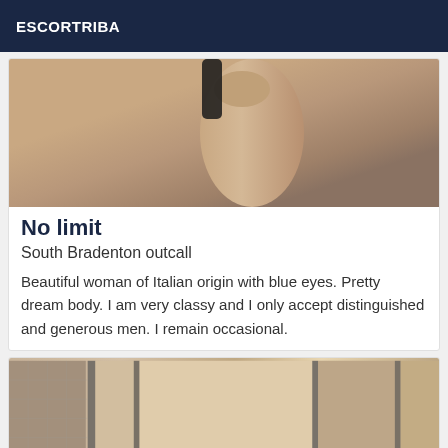ESCORTRIBA
[Figure (photo): Partial photo of a person's legs against a grey background]
No limit
South Bradenton outcall
Beautiful woman of Italian origin with blue eyes. Pretty dream body. I am very classy and I only accept distinguished and generous men. I remain occasional.
[Figure (photo): Photo of a tiled bathroom or corridor with warm golden/beige tones and reflective surfaces]